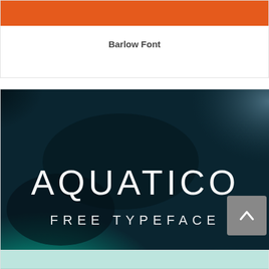[Figure (illustration): Orange horizontal banner bar at the top of a card]
Barlow Font
[Figure (photo): Aquatico Free Typeface promotional image — dark teal/turquoise fluid ink background with white text reading AQUATICO and FREE TYPEFACE]
Aquatico Font